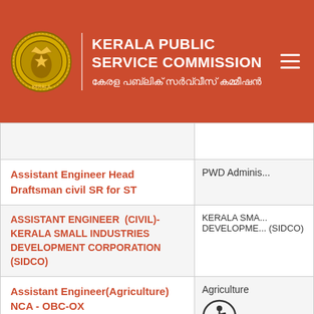KERALA PUBLIC SERVICE COMMISSION | കേരള പബ്ലിക് സർവ്വീസ് കമ്മീഷൻ
| Post Name | Department |
| --- | --- |
|  |  |
| Assistant Engineer Head Draftsman civil SR for ST | PWD Adminis... |
| ASSISTANT ENGINEER (CIVIL)-KERALA SMALL INDUSTRIES DEVELOPMENT CORPORATION (SIDCO) | KERALA SMALL INDUSTRIES DEVELOPMENT CORPORATION (SIDCO) |
| Assistant Engineer(Agriculture) NCA - OBC-OX | Agriculture |
| ASSISTANT ENGINEER(CIVIL)DIRECT... | PUBLIC WOR... |